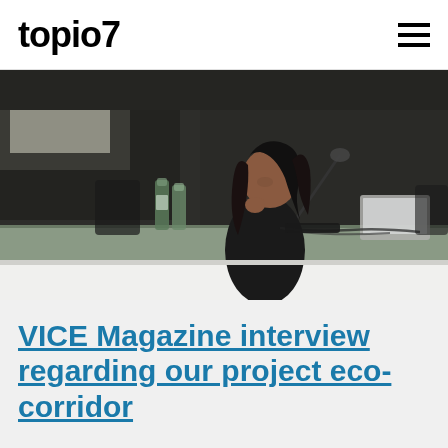topio7
[Figure (photo): A woman with long dark hair sitting at a conference table speaking into a microphone. A laptop and water bottles are on the table. The background is a dim conference room with a projection screen.]
VICE Magazine interview regarding our project eco-corridor